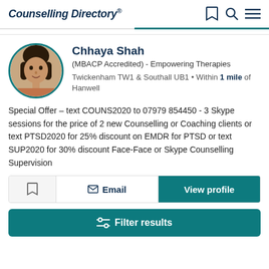Counselling Directory
Chhaya Shah
(MBACP Accredited) - Empowering Therapies
Twickenham TW1 & Southall UB1 • Within 1 mile of Hanwell
Special Offer – text COUNS2020 to 07979 854450 - 3 Skype sessions for the price of 2 new Counselling or Coaching clients or text PTSD2020 for 25% discount on EMDR for PTSD or text SUP2020 for 30% discount Face-Face or Skype Counselling Supervision
Email
View profile
Filter results